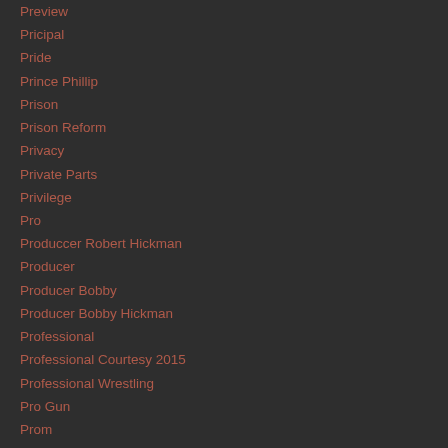Preview
Pricipal
Pride
Prince Phillip
Prison
Prison Reform
Privacy
Private Parts
Privilege
Pro
Produccer Robert Hickman
Producer
Producer Bobby
Producer Bobby Hickman
Professional
Professional Courtesy 2015
Professional Wrestling
Pro Gun
Prom
Propane
Property